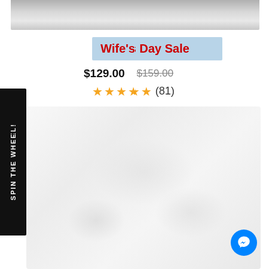[Figure (photo): Top portion of a product image, light gray/white fabric or surface]
Wife's Day Sale
$129.00  $159.00
★★★★★ (81)
SPIN THE WHEEL!
[Figure (photo): White product photo, appears to be a white fabric or cushion item on white background]
[Figure (other): Facebook Messenger chat button, blue circle with white messenger lightning bolt icon]